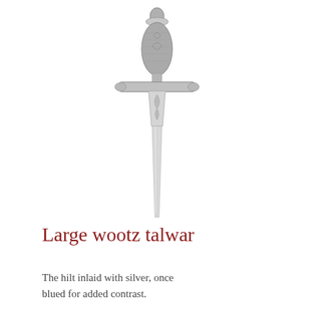[Figure (photo): A silver-colored wootz talwar sword hilt photographed against a white background, showing the pommel at top, decorated grip, cross-guard with quillons, and the top portion of the blade.]
Large wootz talwar
The hilt inlaid with silver, once blued for added contrast.